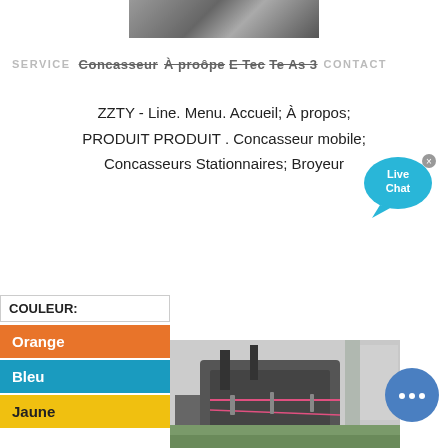[Figure (photo): Top photo of industrial machinery/pipes, partially visible, centered at top]
SERVICE   Concasseur À propos E Tec Te As 3 CONTACT
ZZTY - Line. Menu. Accueil; À propos; PRODUIT PRODUIT . Concasseur mobile; Concasseurs Stationnaires; Broyeur
[Figure (illustration): Live Chat bubble icon in blue with 'Live Chat' text and close X button]
COULEUR:
Orange
Bleu
Jaune
[Figure (photo): Bottom photo of large industrial crusher/jaw crusher machine outdoors]
[Figure (illustration): Blue circular live chat button with ellipsis/dots icon]